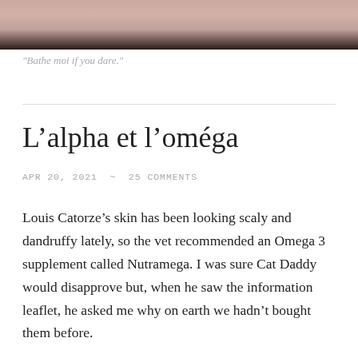[Figure (photo): Close-up photo of a cat's face, cropped to show the nose/mouth area and fur, top portion visible]
"Bathe moi if you dare."
L’alpha et l’oméga
APR 20, 2021  ~  25 COMMENTS
Louis Catorze’s skin has been looking scaly and dandruffy lately, so the vet recommended an Omega 3 supplement called Nutramega. I was sure Cat Daddy would disapprove but, when he saw the information leaflet, he asked me why on earth we hadn’t bought them before.